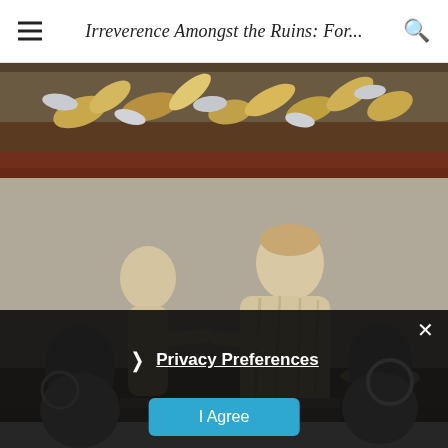Irreverence Amongst the Ruins: For...
[Figure (photo): Close-up photo of ornate metallic/mosaic decorative piece with silver and gold leaf elements on a dark background]
[Figure (photo): Museum photo of two classical marble statues, one larger draped figure embracing a smaller figure, set against a gray wall with decorative objects in background]
[Figure (photo): Dark overlay with Privacy Preferences dialog showing a close button (X), Privacy Preferences link with chevron, and an I Agree button]
Privacy Preferences
I Agree